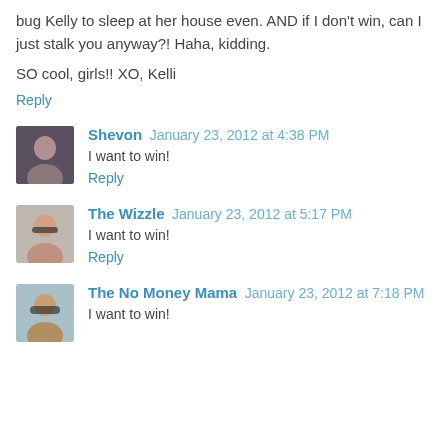bug Kelly to sleep at her house even. AND if I don't win, can I just stalk you anyway?! Haha, kidding.
SO cool, girls!! XO, Kelli
Reply
Shevon January 23, 2012 at 4:38 PM
I want to win!
Reply
The Wizzle January 23, 2012 at 5:17 PM
I want to win!
Reply
The No Money Mama January 23, 2012 at 7:18 PM
I want to win!